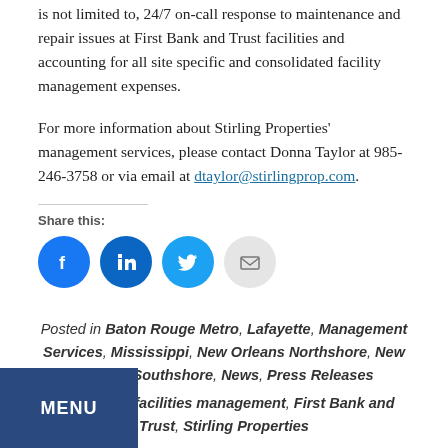is not limited to, 24/7 on-call response to maintenance and repair issues at First Bank and Trust facilities and accounting for all site specific and consolidated facility management expenses.
For more information about Stirling Properties' management services, please contact Donna Taylor at 985-246-3758 or via email at dtaylor@stirlingprop.com.
Share this:
[Figure (other): Social share buttons: Facebook, LinkedIn, Twitter, Email]
Posted in Baton Rouge Metro, Lafayette, Management Services, Mississippi, New Orleans Northshore, New Orleans Southshore, News, Press Releases
Donna Taylor, facilities management, First Bank and Trust, Stirling Properties